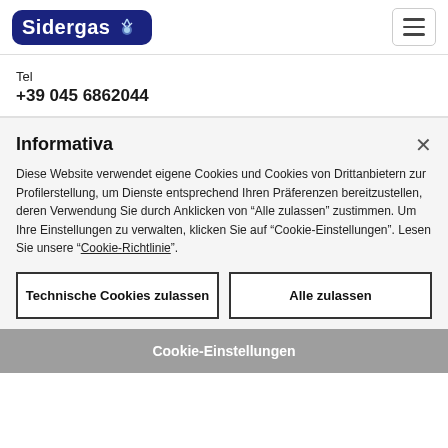Sidergas
Tel
+39 045 6862044
Informativa
Diese Website verwendet eigene Cookies und Cookies von Drittanbietern zur Profilerstellung, um Dienste entsprechend Ihren Präferenzen bereitzustellen, deren Verwendung Sie durch Anklicken von "Alle zulassen" zustimmen. Um Ihre Einstellungen zu verwalten, klicken Sie auf "Cookie-Einstellungen". Lesen Sie unsere "Cookie-Richtlinie".
Technische Cookies zulassen
Alle zulassen
Cookie-Einstellungen